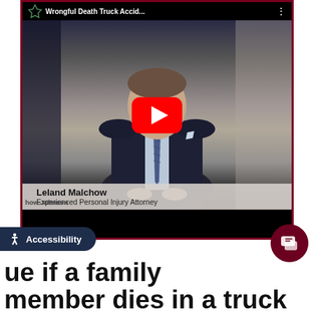[Figure (screenshot): YouTube video thumbnail showing Leland Malchow, Experienced Personal Injury Attorney, with a YouTube play button overlay. Top bar shows title 'Wrongful Death Truck Accid...' The video is framed with a dark maroon border. A name/title bar reads 'Leland Malchow / Experienced Personal Injury Attorney' with 'how Johnson' law firm branding.]
Accessibility
ue if a family member dies in a truck